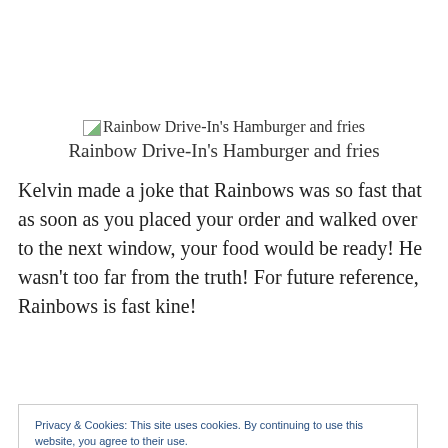[Figure (other): Broken image placeholder icon followed by alt text: Rainbow Drive-In's Hamburger and fries]
Rainbow Drive-In's Hamburger and fries
Kelvin made a joke that Rainbows was so fast that as soon as you placed your order and walked over to the next window, your food would be ready! He wasn't too far from the truth! For future reference, Rainbows is fast kine!
Privacy & Cookies: This site uses cookies. By continuing to use this website, you agree to their use.
To find out more, including how to control cookies, see here: Cookie Policy